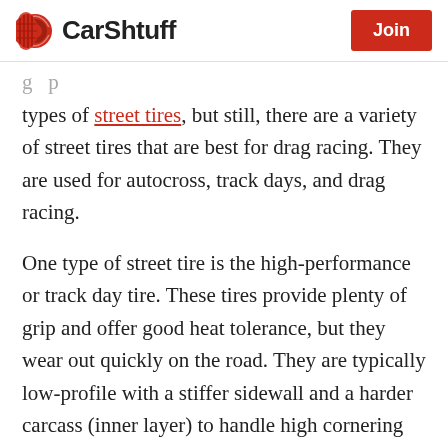CarShtuff | Join
types of street tires, but still, there are a variety of street tires that are best for drag racing. They are used for autocross, track days, and drag racing.
One type of street tire is the high-performance or track day tire. These tires provide plenty of grip and offer good heat tolerance, but they wear out quickly on the road. They are typically low-profile with a stiffer sidewall and a harder carcass (inner layer) to handle high cornering forces.
Another type of street tire is the DOT racing tire